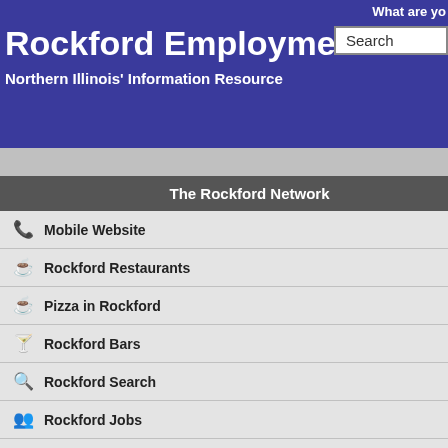Rockford Employment
Northern Illinois' Information Resource
What are yo
Search
Not a member? Post Jobs Today or Find Job
The Rockford Network
Mobile Website
Rockford Restaurants
Pizza in Rockford
Rockford Bars
Rockford Search
Rockford Jobs
Rockford Coupons
[Figure (photo): Two women, one elderly seated and one standing in floral scrubs, embracing in a care facility setting]
River
We're hir
back to search results
FREE TAX SCHOOL!!!!
| Field | Value |
| --- | --- |
| Company | Liberty Tax Service |
| Location |  |
| Status | Seasonal |
| Salary | 8.50 - 10.50 plus bonus |
| Category |  |